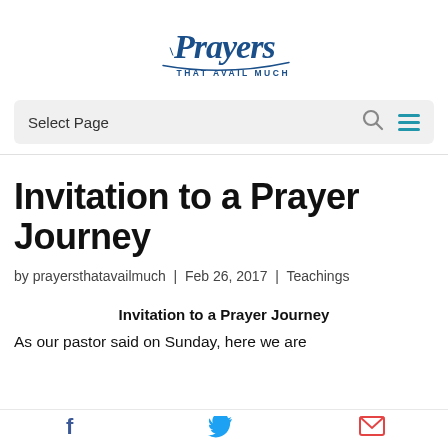Prayers That Avail Much
Select Page
Invitation to a Prayer Journey
by prayersthatavailmuch | Feb 26, 2017 | Teachings
Invitation to a Prayer Journey
As our pastor said on Sunday, here we are
Facebook | Twitter | Mail